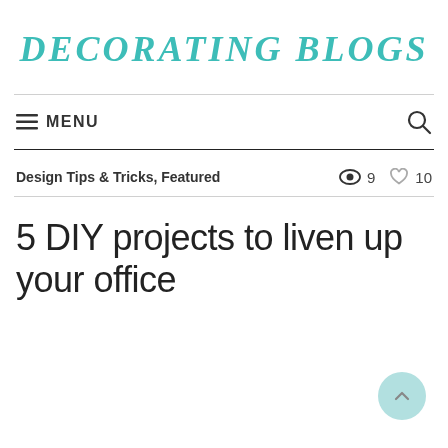DECORATING BLOGS
≡ MENU
Design Tips & Tricks, Featured  👁 9  ♡ 10
5 DIY projects to liven up your office